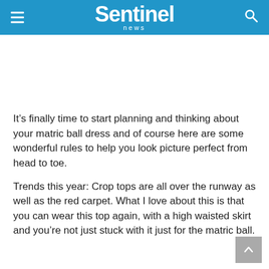Sentinel news
It’s finally time to start planning and thinking about your matric ball dress and of course here are some wonderful rules to help you look picture perfect from head to toe.
Trends this year: Crop tops are all over the runway as well as the red carpet. What I love about this is that you can wear this top again, with a high waisted skirt and you’re not just stuck with it just for the matric ball.